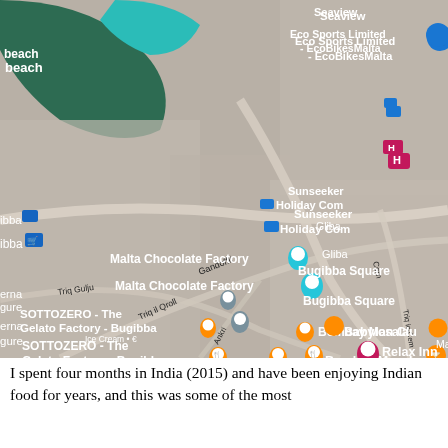[Figure (map): Google Maps satellite/aerial view of Bugibba area in Malta, showing labeled points of interest including: Malta Chocolate Factory, Bugibba Square, SOTTOZERO - The Gelato Factory - Bugibba (Ice Cream • €), Bombay Masala, Relax Inn, Babylon Club, Venus Restaurant Bugibba, Bank of Valletta plc - Bugibba Branch, Promenade Pharmacy, Gourmet Bar & Grill, Eco Sports Limited - EcoBikesMalta, Sunseeker Holiday Com[plex], Gliba, Casa San, Mazzo[...]. Streets labeled: Gandoffli, Triq il Qroll, Triq Gulju, Ankri, Cern, Triq ic-Cem[...]]
I spent four months in India (2015) and have been enjoying Indian food for years, and this was some of the most